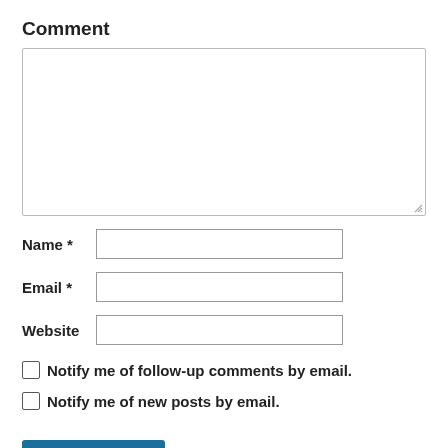Comment
[Figure (screenshot): Empty comment textarea input box with resize handle in bottom-right corner]
Name *
[Figure (screenshot): Name text input field]
Email *
[Figure (screenshot): Email text input field]
Website
[Figure (screenshot): Website text input field]
Notify me of follow-up comments by email.
Notify me of new posts by email.
Post Comment